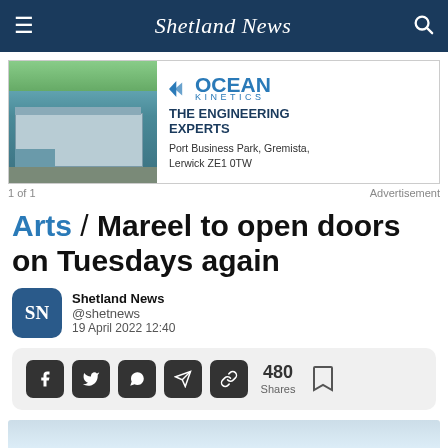Shetland News
[Figure (photo): Ocean Kinetics advertisement banner with aerial photo of a building/facility on the left and company logo and text on the right: OCEAN KINETICS - THE ENGINEERING EXPERTS - Port Business Park, Gremista, Lerwick ZE1 0TW]
1 of 1   Advertisement
Arts / Mareel to open doors on Tuesdays again
Shetland News @shetnews 19 April 2022 12:40
[Figure (infographic): Social share bar with Facebook, Twitter, WhatsApp, Telegram, link icons, 480 Shares count, and bookmark icon]
[Figure (photo): Partial image at bottom of page, light blue sky/scenery]